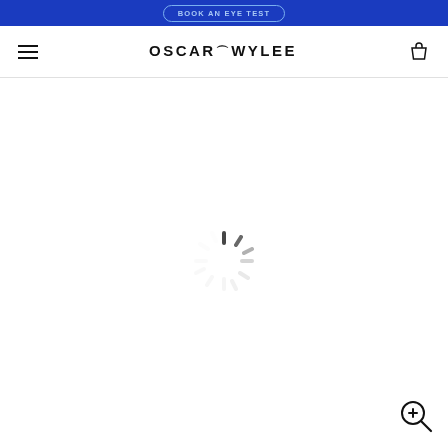BOOK AN EYE TEST
OSCAR WYLEE (navigation bar with hamburger menu and cart icon)
[Figure (other): Loading spinner (circular spinner animation indicator) centered on a white page background]
[Figure (other): Zoom in magnifier icon (plus sign inside circle with handle) at bottom right corner]